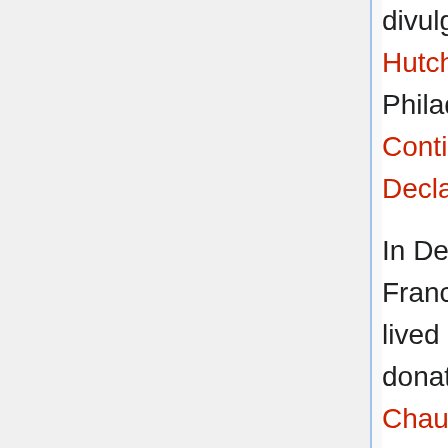divulging to Massachusetts the famous letter of Hutchinson and Oliver. On his arrival in Philadelphia he was chosen as a member of the Continental Congress and assisted in editing the Declaration of Independence.
In December of 1776 he was dispatched to France as commissioner for the United States. He lived in a home in the Parisian suburb of Passy donated by Jacques-Donatien Le Ray de Chaumont who would become a friend and the most important foreigner to help the United States win the War of Independence. Ben Franklin remained in France until 1785, a favorite of French society. Franklin was so popular that it became fashionable for wealthy French families to decorate their parlors with a painting of him. He conducted the affairs